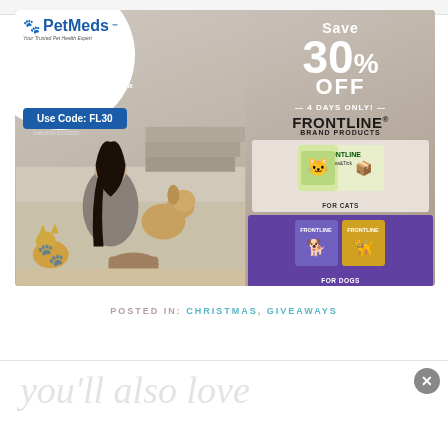[Figure (photo): PetMeds advertisement banner showing Save 30% OFF - 4 DAYS ONLY! on Frontline Brand Products for cats and dogs. Features a woman sitting on a couch with a dog and cat. Use Code: FL30. Valid 8/16-8/21/2022.]
POSTED IN: CHRISTMAS, GIVEAWAYS
you'll also love